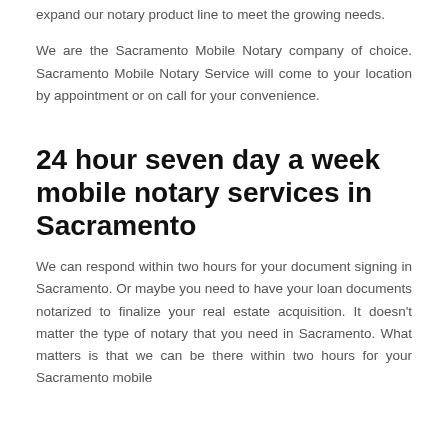expand our notary product line to meet the growing needs.
We are the Sacramento Mobile Notary company of choice. Sacramento Mobile Notary Service will come to your location by appointment or on call for your convenience.
24 hour seven day a week mobile notary services in Sacramento
We can respond within two hours for your document signing in Sacramento. Or maybe you need to have your loan documents notarized to finalize your real estate acquisition. It doesn't matter the type of notary that you need in Sacramento. What matters is that we can be there within two hours for your Sacramento mobile